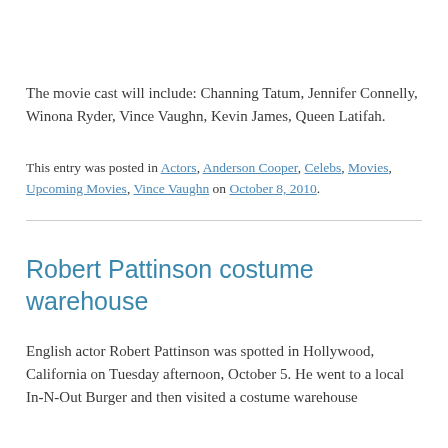The movie cast will include: Channing Tatum, Jennifer Connelly, Winona Ryder, Vince Vaughn, Kevin James, Queen Latifah.
This entry was posted in Actors, Anderson Cooper, Celebs, Movies, Upcoming Movies, Vince Vaughn on October 8, 2010.
Robert Pattinson costume warehouse
English actor Robert Pattinson was spotted in Hollywood, California on Tuesday afternoon, October 5. He went to a local In-N-Out Burger and then visited a costume warehouse